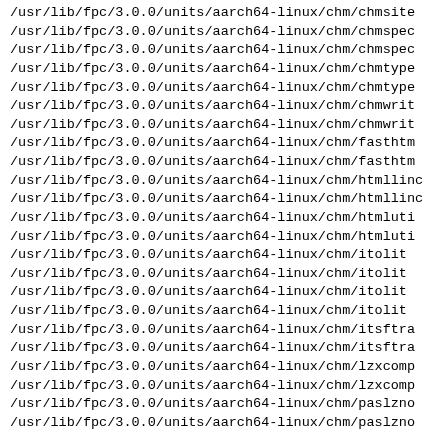/usr/lib/fpc/3.0.0/units/aarch64-linux/chm/chmsite...
/usr/lib/fpc/3.0.0/units/aarch64-linux/chm/chmspec...
/usr/lib/fpc/3.0.0/units/aarch64-linux/chm/chmspec...
/usr/lib/fpc/3.0.0/units/aarch64-linux/chm/chmtype...
/usr/lib/fpc/3.0.0/units/aarch64-linux/chm/chmtype...
/usr/lib/fpc/3.0.0/units/aarch64-linux/chm/chmwrit...
/usr/lib/fpc/3.0.0/units/aarch64-linux/chm/chmwrit...
/usr/lib/fpc/3.0.0/units/aarch64-linux/chm/fasthtm...
/usr/lib/fpc/3.0.0/units/aarch64-linux/chm/fasthtm...
/usr/lib/fpc/3.0.0/units/aarch64-linux/chm/htmllinc...
/usr/lib/fpc/3.0.0/units/aarch64-linux/chm/htmllinc...
/usr/lib/fpc/3.0.0/units/aarch64-linux/chm/htmluti...
/usr/lib/fpc/3.0.0/units/aarch64-linux/chm/htmluti...
/usr/lib/fpc/3.0.0/units/aarch64-linux/chm/itolit...
/usr/lib/fpc/3.0.0/units/aarch64-linux/chm/itolit...
/usr/lib/fpc/3.0.0/units/aarch64-linux/chm/itolit...
/usr/lib/fpc/3.0.0/units/aarch64-linux/chm/itolit...
/usr/lib/fpc/3.0.0/units/aarch64-linux/chm/itsftra...
/usr/lib/fpc/3.0.0/units/aarch64-linux/chm/itsftra...
/usr/lib/fpc/3.0.0/units/aarch64-linux/chm/lzxcomp...
/usr/lib/fpc/3.0.0/units/aarch64-linux/chm/lzxcomp...
/usr/lib/fpc/3.0.0/units/aarch64-linux/chm/paslzno...
/usr/lib/fpc/3.0.0/units/aarch64-linux/chm/paslzno...